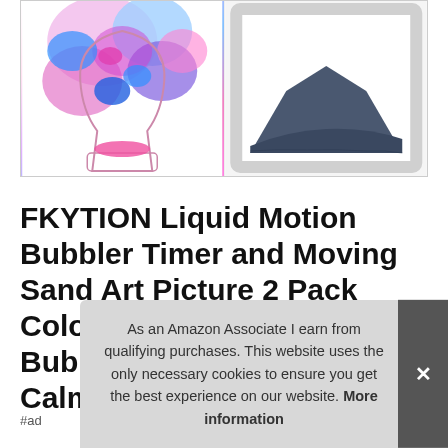[Figure (photo): Two product images side by side: left shows a colorful liquid motion bubbler/lava lamp with pink, blue and purple blobs; right shows a moving sand art picture frame with dark blue sand forming a mountain landscape on white background, in a white frame.]
FKYTION Liquid Motion Bubbler Timer and Moving Sand Art Picture 2 Pack Colorful Hourglass Liquid Bubbler Art Toys Activity Calm Relaxing Desk Toys Vo
#ad
As an Amazon Associate I earn from qualifying purchases. This website uses the only necessary cookies to ensure you get the best experience on our website. More information